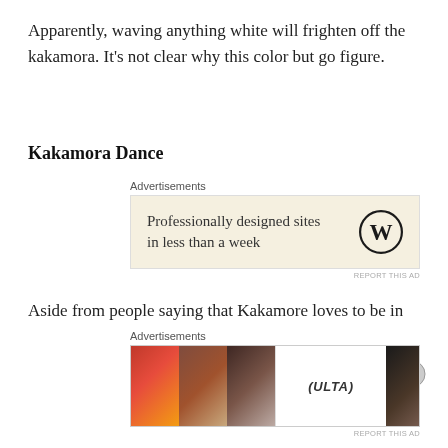Apparently, waving anything white will frighten off the kakamora. It's not clear why this color but go figure.
Kakamora Dance
[Figure (screenshot): WordPress advertisement: 'Professionally designed sites in less than a week' with WordPress logo on beige background]
Aside from people saying that Kakamore loves to be in the moonlight, there is a traditional dance held in the Soloman Islands. This play or dance imitates the legendary dance that the kakamora did to the sounding of a conch shell. When people traveling by canoe suddenly arrive, the smaller kakamora take off for the trees in a panic, running
[Figure (screenshot): Ulta Beauty advertisement with makeup imagery and 'SHOP NOW' call to action]